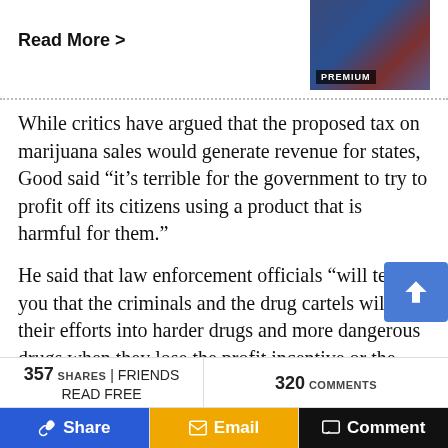Read More >
[Figure (photo): Social security cards thumbnail with PREMIUM badge]
While critics have argued that the proposed tax on marijuana sales would generate revenue for states, Good said “it’s terrible for the government to try to profit off its citizens using a product that is harmful for them.”
He said that law enforcement officials “will tell you that the criminals and the drug cartels will put their efforts into harder drugs and more dangerous drugs when they lose the profit incentive or the profit opportunity with marijuana.”
357 SHARES | FRIENDS READ FREE   320 COMMENTS   Share   Email   Comment